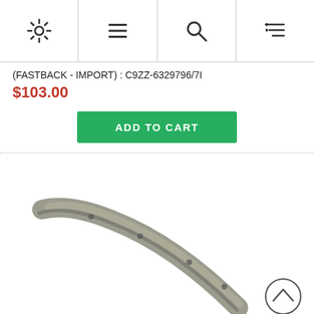Navigation bar with settings, menu, search, and filter icons
(FASTBACK - IMPORT) : C9ZZ-6329796/7I
$103.00
ADD TO CART
[Figure (photo): A curved metal trim piece (likely a window or body chrome trim) for a Fastback import vehicle, part number C9ZZ-6329796/7I, shown on white background.]